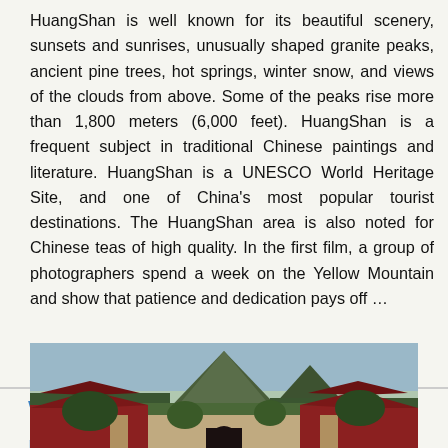HuangShan is well known for its beautiful scenery, sunsets and sunrises, unusually shaped granite peaks, ancient pine trees, hot springs, winter snow, and views of the clouds from above. Some of the peaks rise more than 1,800 meters (6,000 feet). HuangShan is a frequent subject in traditional Chinese paintings and literature. HuangShan is a UNESCO World Heritage Site, and one of China's most popular tourist destinations. The HuangShan area is also noted for Chinese teas of high quality. In the first film, a group of photographers spend a week on the Yellow Mountain and show that patience and dedication pays off …
WuDang Mountain , HuBei province, home of Taoism and WuShu
[Figure (photo): Photograph of WuDang Mountain showing traditional Chinese temple rooftops with red curved eaves in the foreground, dense green trees, and a dramatic rocky mountain peak in the background under an overcast sky.]